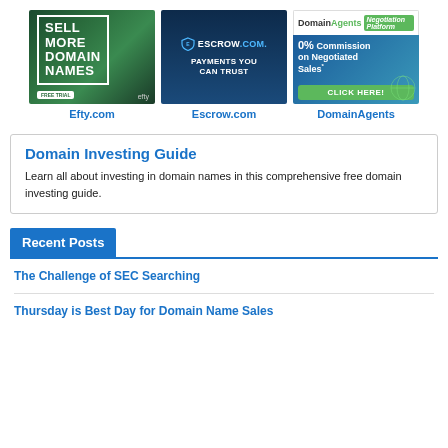[Figure (other): Efty.com advertisement banner: dark green background with palm leaves, text SELL MORE DOMAIN NAMES, FREE TRIAL button, efty branding]
Efty.com
[Figure (other): Escrow.com advertisement banner: dark navy background, Escrow.com logo with shield icon, text PAYMENTS YOU CAN TRUST]
Escrow.com
[Figure (other): DomainAgents advertisement banner: top white section with DomainAgents Negotiation Platform logo, bottom blue section with text 0% Commission on Negotiated Sales, green CLICK HERE button, globe graphic]
DomainAgents
Domain Investing Guide
Learn all about investing in domain names in this comprehensive free domain investing guide.
Recent Posts
The Challenge of SEC Searching
Thursday is Best Day for Domain Name Sales